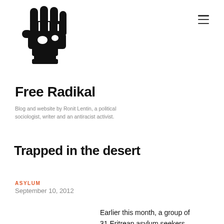[Figure (logo): Black raised fist logo icon for Free Radikal website]
[Figure (other): Hamburger menu icon (three horizontal lines) in top right corner]
Free Radikal
Blog and website by Ronit Lentin, a political sociologist, writer and an antiracist activist.
Trapped in the desert
ASYLUM
September 10, 2012
Earlier this month, a group of 31 Eritrean asylum seekers